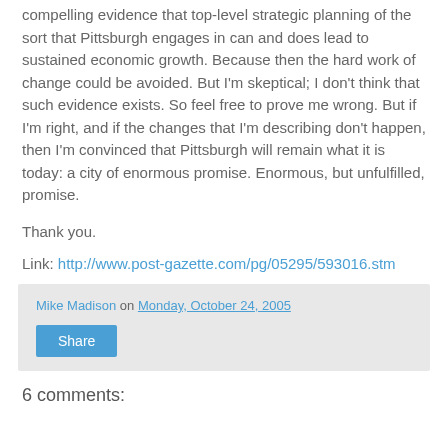compelling evidence that top-level strategic planning of the sort that Pittsburgh engages in can and does lead to sustained economic growth. Because then the hard work of change could be avoided. But I'm skeptical; I don't think that such evidence exists. So feel free to prove me wrong. But if I'm right, and if the changes that I'm describing don't happen, then I'm convinced that Pittsburgh will remain what it is today: a city of enormous promise. Enormous, but unfulfilled, promise.
Thank you.
Link: http://www.post-gazette.com/pg/05295/593016.stm
Mike Madison on Monday, October 24, 2005
Share
6 comments: